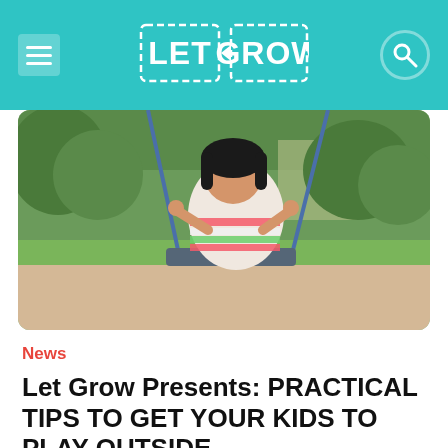Let Grow
[Figure (photo): A young Asian girl in a colorful striped dress sitting on a playground swing, holding the blue ropes. Background shows green grass, trees, and sandy ground.]
News
Let Grow Presents: PRACTICAL TIPS TO GET YOUR KIDS TO PLAY OUTSIDE